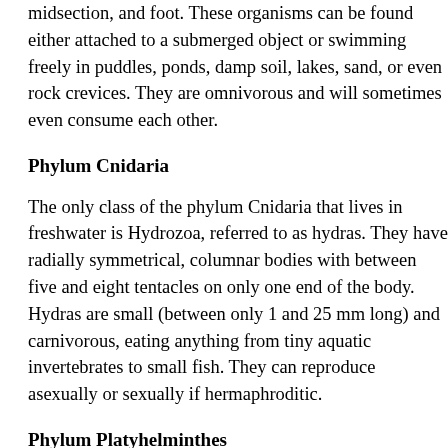midsection, and foot. These organisms can be found either attached to a submerged object or swimming freely in puddles, ponds, damp soil, lakes, sand, or even rock crevices. They are omnivorous and will sometimes even consume each other.
Phylum Cnidaria
The only class of the phylum Cnidaria that lives in freshwater is Hydrozoa, referred to as hydras. They have radially symmetrical, columnar bodies with between five and eight tentacles on only one end of the body. Hydras are small (between only 1 and 25 mm long) and carnivorous, eating anything from tiny aquatic invertebrates to small fish. They can reproduce asexually or sexually if hermaphroditic.
Phylum Platyhelminthes
The phylum Platyhelminthes contains one class, Turbellaria, known as free-living flatworms. Turbellaria are very small, elongated worms that can be flat, spindle-shaped, leaflike, or cylindrical. Most of their bodies are covered with cilia, which are hair-like structures that the flatworm uses to move itself.